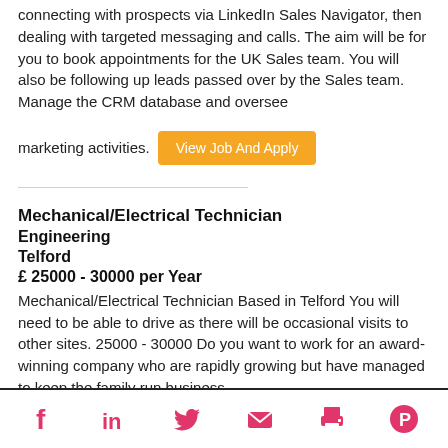connecting with prospects via LinkedIn Sales Navigator, then dealing with targeted messaging and calls. The aim will be for you to book appointments for the UK Sales team. You will also be following up leads passed over by the Sales team. Manage the CRM database and oversee
marketing activities.
View Job And Apply
Mechanical/Electrical Technician
Engineering
Telford
£ 25000 - 30000 per Year
Mechanical/Electrical Technician Based in Telford You will need to be able to drive as there will be occasional visits to other sites. 25000 - 30000 Do you want to work for an award-winning company who are rapidly growing but have managed to keep the family run business
Social share icons: Facebook, LinkedIn, Twitter, Email, Print, Pinterest